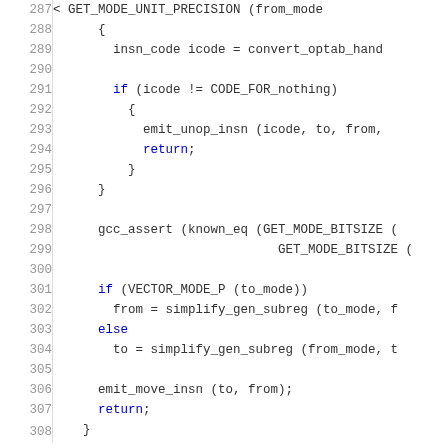Source code listing lines 287-307 showing C/C++ code with line numbers. Code includes conditional logic, gcc_assert, VECTOR_MODE_P checks, simplify_gen_subreg calls, emit_move_insn, and return statements.